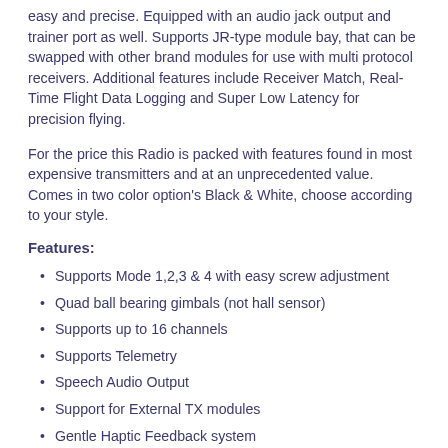easy and precise. Equipped with an audio jack output and trainer port as well. Supports JR-type module bay, that can be swapped with other brand modules for use with multi protocol receivers. Additional features include Receiver Match, Real-Time Flight Data Logging and Super Low Latency for precision flying.
For the price this Radio is packed with features found in most expensive transmitters and at an unprecedented value. Comes in two color option's Black & White, choose according to your style.
Features:
Supports Mode 1,2,3 & 4 with easy screw adjustment
Quad ball bearing gimbals (not hall sensor)
Supports up to 16 channels
Supports Telemetry
Speech Audio Output
Support for External TX modules
Gentle Haptic Feedback system
Multi-color LED light status